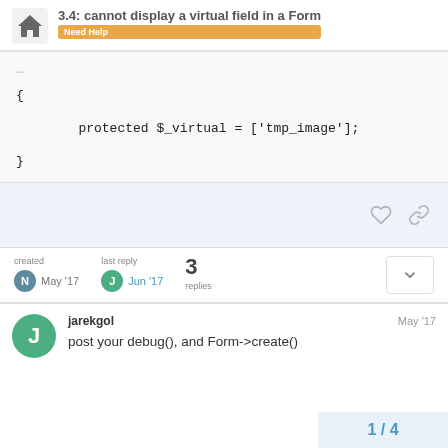3.4: cannot display a virtual field in a Form | Need Help
{ protected $_virtual = ['tmp_image']; }
jarekgol  May '17  post your debug(), and Form->create()
1 / 4